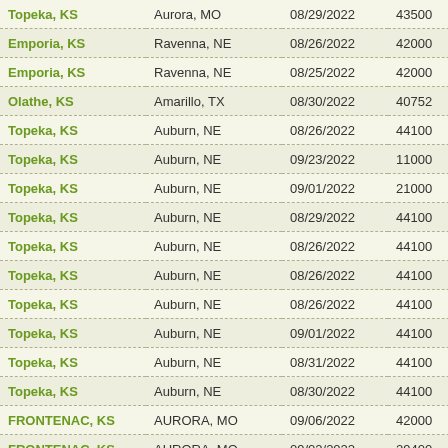| Origin | Destination | Date | Amount | Type |
| --- | --- | --- | --- | --- |
| Topeka, KS | Aurora, MO | 08/29/2022 | 43500 | va |
| Emporia, KS | Ravenna, NE | 08/26/2022 | 42000 | re |
| Emporia, KS | Ravenna, NE | 08/25/2022 | 42000 | re |
| Olathe, KS | Amarillo, TX | 08/30/2022 | 40752 | re |
| Topeka, KS | Auburn, NE | 08/26/2022 | 44100 | va |
| Topeka, KS | Auburn, NE | 09/23/2022 | 11000 | va |
| Topeka, KS | Auburn, NE | 09/01/2022 | 21000 | va |
| Topeka, KS | Auburn, NE | 08/29/2022 | 44100 | va |
| Topeka, KS | Auburn, NE | 08/26/2022 | 44100 | va |
| Topeka, KS | Auburn, NE | 08/26/2022 | 44100 | va |
| Topeka, KS | Auburn, NE | 08/26/2022 | 44100 | va |
| Topeka, KS | Auburn, NE | 09/01/2022 | 44100 | va |
| Topeka, KS | Auburn, NE | 08/31/2022 | 44100 | va |
| Topeka, KS | Auburn, NE | 08/30/2022 | 44100 | va |
| FRONTENAC, KS | AURORA, MO | 09/06/2022 | 42000 | va |
| FRONTENAC, KS | AURORA, MO | 09/02/2022 | 29400 | va |